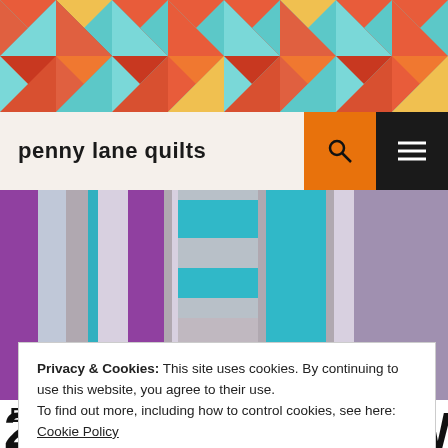[Figure (photo): Colorful quilt banner with geometric triangular pattern in red, orange, teal, and yellow]
penny lane quilts
[Figure (photo): Close-up photo of quilt blocks in purple, teal, gray, and light blue strips]
Privacy & Cookies: This site uses cookies. By continuing to use this website, you agree to their use.
To find out more, including how to control cookies, see here: Cookie Policy
Close and accept
B
2016 CLOUD9 NEW BLOCK